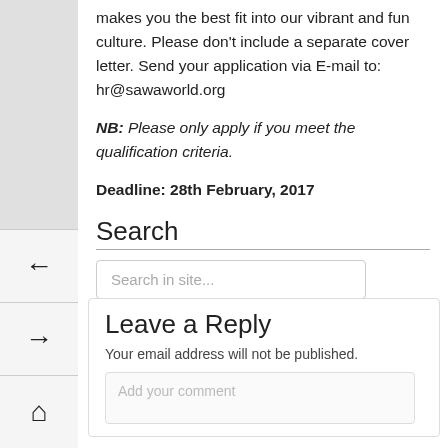makes you the best fit into our vibrant and fun culture. Please don't include a separate cover letter. Send your application via E-mail to: hr@sawaworld.org
NB: Please only apply if you meet the qualification criteria.
Deadline: 28th February, 2017
Search
Search in site...
Leave a Reply
Your email address will not be published.
Add your comment